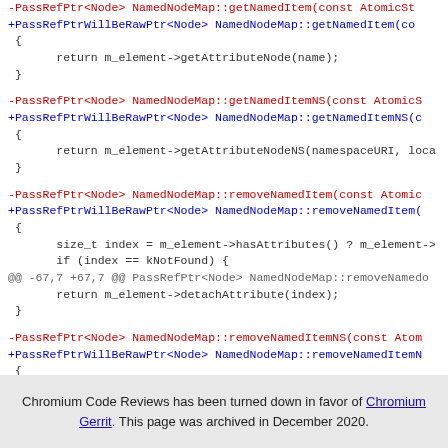Code diff showing PassRefPtr to PassRefPtrWillBeRawPtr refactoring for NamedNodeMap methods: getNamedItem, getNamedItemNS, removeNamedItem, removeNamedItemNS
Chromium Code Reviews has been turned down in favor of Chromium Gerrit. This page was archived in December 2020.